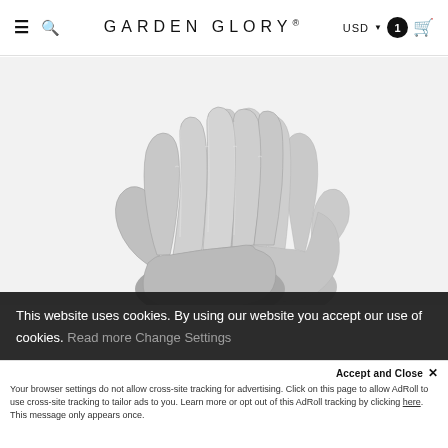≡ 🔍 GARDEN GLORY® USD ▾ 1 🛒
[Figure (photo): Silver metallic garden gloves with textured leather-like surface, fingers pointing upward against a light grey background]
This website uses cookies. By using our website you accept our use of cookies. Read more Change Settings
Accept and Close ✕
Your browser settings do not allow cross-site tracking for advertising. Click on this page to allow AdRoll to use cross-site tracking to tailor ads to you. Learn more or opt out of this AdRoll tracking by clicking here. This message only appears once.